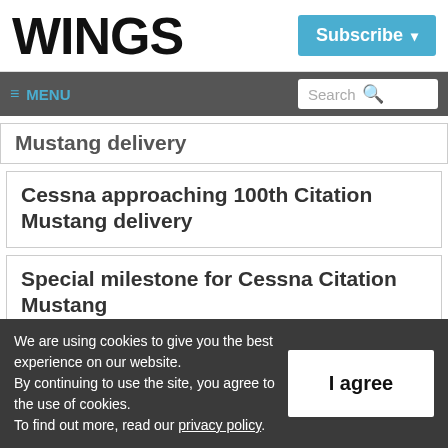WINGS
Subscribe
≡ MENU  Search
Mustang delivery
Cessna approaching 100th Citation Mustang delivery
Special milestone for Cessna Citation Mustang
We are using cookies to give you the best experience on our website.
By continuing to use the site, you agree to the use of cookies.
To find out more, read our privacy policy.
I agree